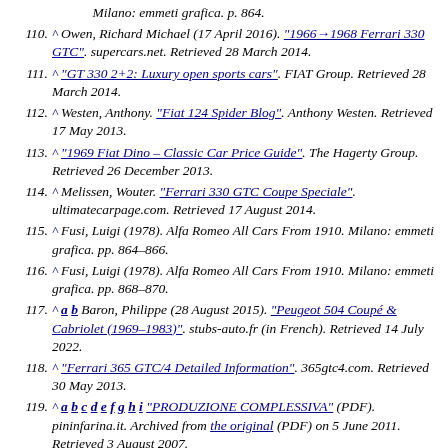Milano: emmeti grafica. p. 864.
110. ^ Owen, Richard Michael (17 April 2016). "1966→1968 Ferrari 330 GTC". supercars.net. Retrieved 28 March 2014.
111. ^ "GT 330 2+2: Luxury open sports cars". FIAT Group. Retrieved 28 March 2014.
112. ^ Westen, Anthony. "Fiat 124 Spider Blog". Anthony Westen. Retrieved 17 May 2013.
113. ^ "1969 Fiat Dino – Classic Car Price Guide". The Hagerty Group. Retrieved 26 December 2013.
114. ^ Melissen, Wouter. "Ferrari 330 GTC Coupe Speciale". ultimatecarpage.com. Retrieved 17 August 2014.
115. ^ Fusi, Luigi (1978). Alfa Romeo All Cars From 1910. Milano: emmeti grafica. pp. 864–866.
116. ^ Fusi, Luigi (1978). Alfa Romeo All Cars From 1910. Milano: emmeti grafica. pp. 868–870.
117. ^ a b Baron, Philippe (28 August 2015). "Peugeot 504 Coupé & Cabriolet (1969–1983)". stubs-auto.fr (in French). Retrieved 14 July 2022.
118. ^ "Ferrari 365 GTC/4 Detailed Information". 365gtc4.com. Retrieved 30 May 2013.
119. ^ a b c d e f g h i "PRODUZIONE COMPLESSIVA" (PDF). pininfarina.it. Archived from the original (PDF) on 5 June 2011. Retrieved 3 August 2007.
120. ^ "Development of the Talbot Samba cars". Rootes-...